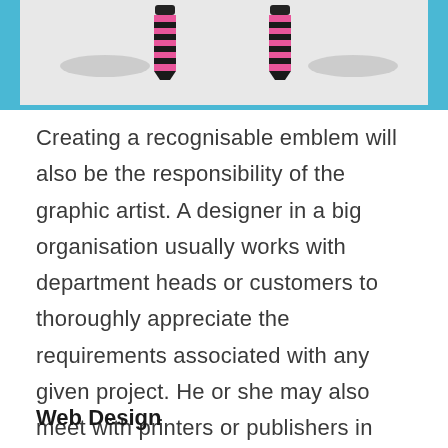[Figure (photo): Partial image of two zebra-striped pink and black markers or pens standing upright against a light gray background with oval shadow shapes beneath them, with a blue border at the top.]
Creating a recognisable emblem will also be the responsibility of the graphic artist. A designer in a big organisation usually works with department heads or customers to thoroughly appreciate the requirements associated with any given project. He or she may also meet with printers or publishers in order to find the right choice of paper, to cover inventories and printing methods.
Web Design